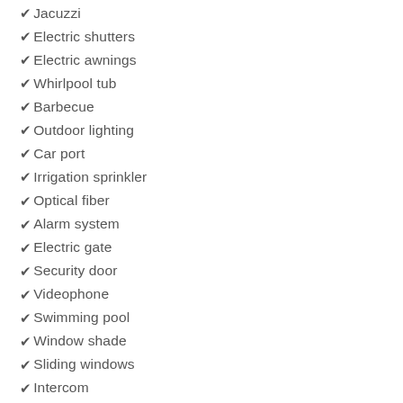✔ Jacuzzi
✔ Electric shutters
✔ Electric awnings
✔ Whirlpool tub
✔ Barbecue
✔ Outdoor lighting
✔ Car port
✔ Irrigation sprinkler
✔ Optical fiber
✔ Alarm system
✔ Electric gate
✔ Security door
✔ Videophone
✔ Swimming pool
✔ Window shade
✔ Sliding windows
✔ Intercom